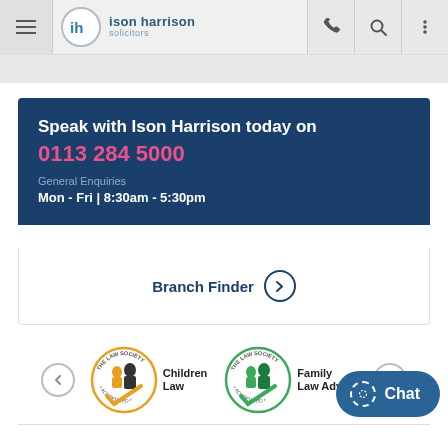ison harrison solicitors
Speak with Ison Harrison today on 0113 284 5000
General Enquiries
Mon - Fri | 8:30am - 5:30pm
Branch Finder
[Figure (logo): The Law Society Accredited - Children Law badge]
[Figure (logo): The Law Society Accredited - Family Law Advance badge]
Chat